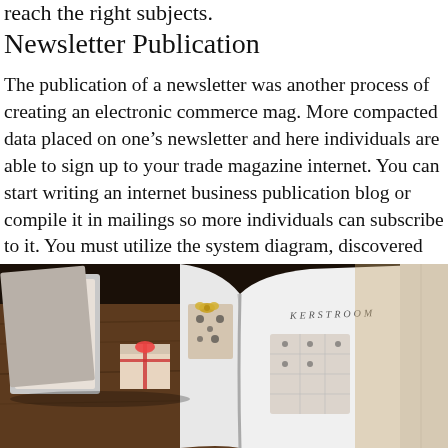reach the right subjects.
Newsletter Publication
The publication of a newsletter was another process of creating an electronic commerce mag. More compacted data placed on one's newsletter and here individuals are able to sign up to your trade magazine internet. You can start writing an internet business publication blog or compile it in mailings so more individuals can subscribe to it. You must utilize the system diagram, discovered on this homepage: http://www.ezineannouncer.com/, whether you are going to look for a numerous ezines application.
[Figure (photo): An open magazine/newsletter with Christmas-themed gift cards and wrapped presents visible, photographed on a wooden surface. The open book shows the word KERSTROOM on the page.]